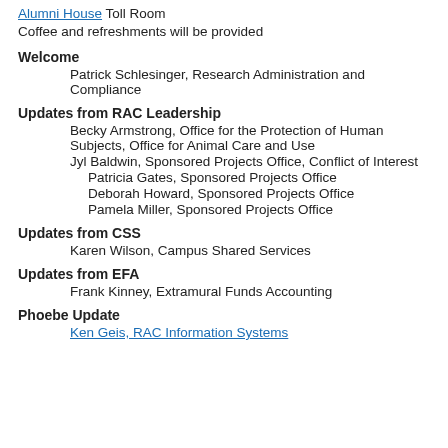Alumni House Toll Room
Coffee and refreshments will be provided
Welcome
Patrick Schlesinger, Research Administration and Compliance
Updates from RAC Leadership
Becky Armstrong, Office for the Protection of Human Subjects, Office for Animal Care and Use
Jyl Baldwin, Sponsored Projects Office, Conflict of Interest
Patricia Gates, Sponsored Projects Office
Deborah Howard, Sponsored Projects Office
Pamela Miller, Sponsored Projects Office
Updates from CSS
Karen Wilson, Campus Shared Services
Updates from EFA
Frank Kinney, Extramural Funds Accounting
Phoebe Update
Ken Geis, RAC Information Systems